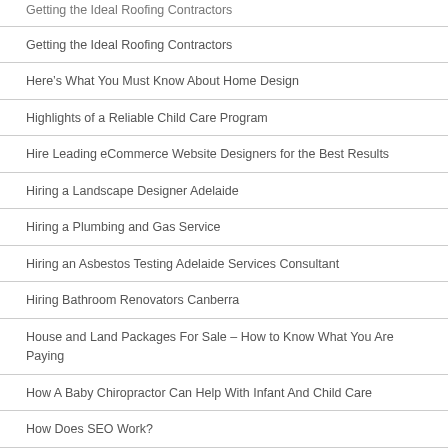Getting the Ideal Roofing Contractors
Here’s What You Must Know About Home Design
Highlights of a Reliable Child Care Program
Hire Leading eCommerce Website Designers for the Best Results
Hiring a Landscape Designer Adelaide
Hiring a Plumbing and Gas Service
Hiring an Asbestos Testing Adelaide Services Consultant
Hiring Bathroom Renovators Canberra
House and Land Packages For Sale – How to Know What You Are Paying
How A Baby Chiropractor Can Help With Infant And Child Care
How Does SEO Work?
How Much a Land Surveyor Costs Adelaide – Check it Out Here
How Professional Designers Can Help Your Brand Identity